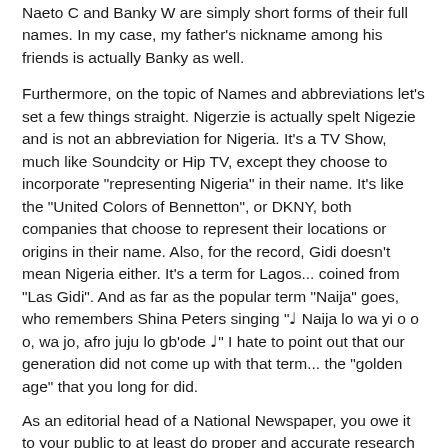Naeto C and Banky W are simply short forms of their full names. In my case, my father's nickname among his friends is actually Banky as well.
Furthermore, on the topic of Names and abbreviations let's set a few things straight. Nigerzie is actually spelt Nigezie and is not an abbreviation for Nigeria. It's a TV Show, much like Soundcity or Hip TV, except they choose to incorporate "representing Nigeria" in their name. It's like the "United Colors of Bennetton", or DKNY, both companies that choose to represent their locations or origins in their name. Also, for the record, Gidi doesn't mean Nigeria either. It's a term for Lagos... coined from "Las Gidi". And as far as the popular term "Naija" goes, who remembers Shina Peters singing "♩ Naija lo wa yi o o o, wa jo, afro juju lo gb'ode ♩" I hate to point out that our generation did not come up with that term... the "golden age" that you long for did.
As an editorial head of a National Newspaper, you owe it to your public to at least do proper and accurate research before printing an article. The risk in not doing so, is you might unknowingly mislead your readers, and you might actually...